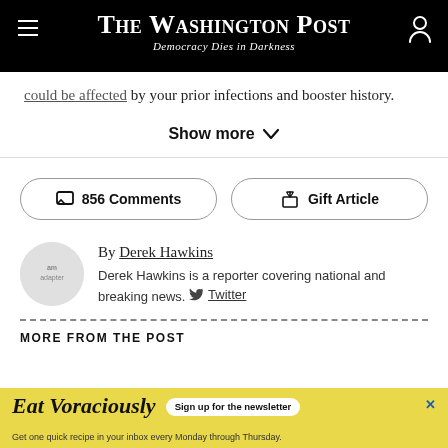The Washington Post — Democracy Dies in Darkness
could be affected by your prior infections and booster history.
Show more
856 Comments   Gift Article
By Derek Hawkins
Derek Hawkins is a reporter covering national and breaking news. Twitter
MORE FROM THE POST
[Figure (screenshot): Eat Voraciously newsletter advertisement banner: yellow background with italic text 'Eat Voraciously', signup button, and subtext 'Get one quick recipe in your inbox every Monday through Thursday.']